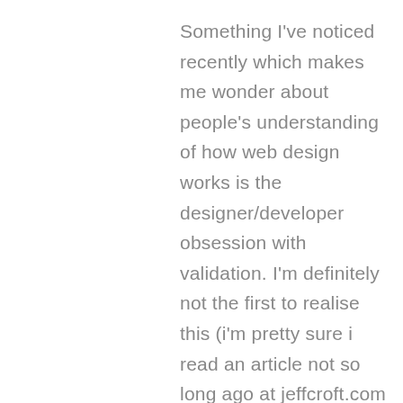Something I've noticed recently which makes me wonder about people's understanding of how web design works is the designer/developer obsession with validation. I'm definitely not the first to realise this (i'm pretty sure i read an article not so long ago at jeffcroft.com – where Jeff made the same point), but i've been surfing the web a bit this weekend, and noticed how rampant this issue really is.